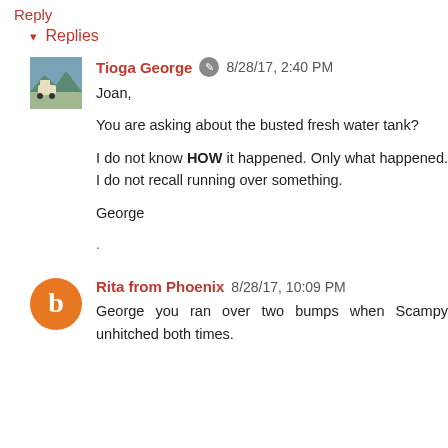Reply
▾ Replies
Tioga George  ✎  8/28/17, 2:40 PM
Joan,

You are asking about the busted fresh water tank?

I do not know HOW it happened. Only what happened. I do not recall running over something.

George

.
Rita from Phoenix  8/28/17, 10:09 PM
George you ran over two bumps when Scampy unhitched both times.